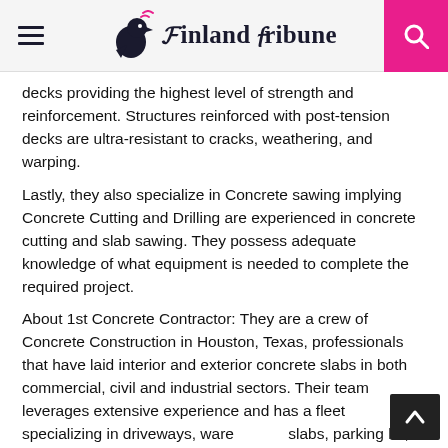Finland Tribune
decks providing the highest level of strength and reinforcement. Structures reinforced with post-tension decks are ultra-resistant to cracks, weathering, and warping.
Lastly, they also specialize in Concrete sawing implying Concrete Cutting and Drilling are experienced in concrete cutting and slab sawing. They possess adequate knowledge of what equipment is needed to complete the required project.
About 1st Concrete Contractor: They are a crew of Concrete Construction in Houston, Texas, professionals that have laid interior and exterior concrete slabs in both commercial, civil and industrial sectors. Their team leverages extensive experience and has a fleet specializing in driveways, warehouses slabs, parking lot, and sidewalk construction. In addition, they work with General Contractors in the Houston area.